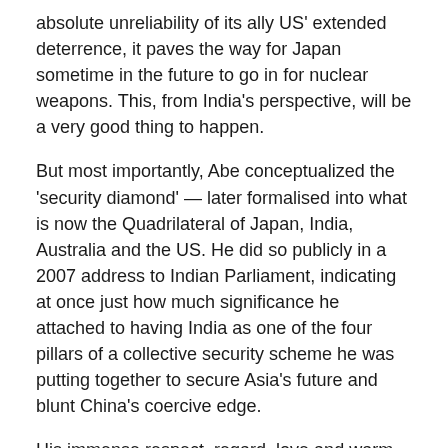absolute unreliability of its ally US' extended deterrence, it paves the way for Japan sometime in the future to go in for nuclear weapons. This, from India's perspective, will be a very good thing to happen.
But most importantly, Abe conceptualized the 'security diamond' — later formalised into what is now the Quadrilateral of Japan, India, Australia and the US. He did so publicly in a 2007 address to Indian Parliament, indicating at once just how much significance he attached to having India as one of the four pillars of a collective security scheme he was putting together to secure Asia's future and blunt China's coercive edge.
His immense respect, regard, love and warm feelings for India were for intensely personal family reasons. Shinzo Abe was the scion of a powerful political dynasty with pre-